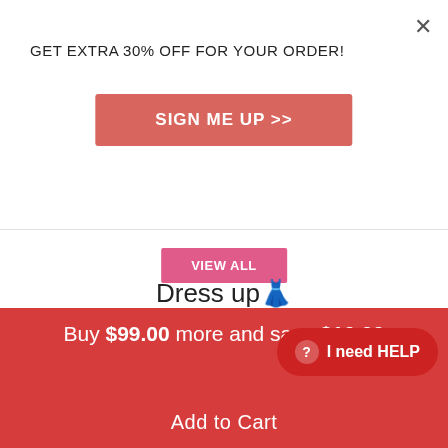GET EXTRA 30% OFF FOR YOUR ORDER!
SIGN ME UP >>
VIEW ALL
Dress up👚
44% OFF
Save $19.00
23% OFF
Save $14.00
Buy $99.00 more and save $10.00
Add to Cart
I need HELP